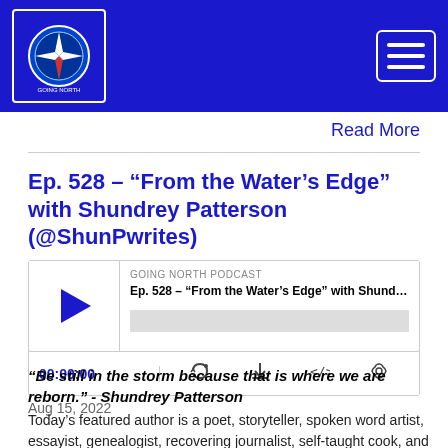Going North Podcast
Read More
Ep. 528 – “From the Water’s Edge” with Shundrey Patterson (@ShunPwrites)
[Figure (screenshot): Podcast audio player widget showing episode Ep. 528 – “From the Water’s Edge” with Shund... on Going North Podcast. Controls show 00:00:00 timestamp and icons for RSS, download, embed, and share.]
Aug 15, 2022
“Be still in the storm because that is where we are reborn.” - Shundrey Patterson
Today’s featured author is a poet, storyteller, spoken word artist, essayist, genealogist, recovering journalist, self-taught cook, and ardent searcher of God’s face, Shundrey Patterson